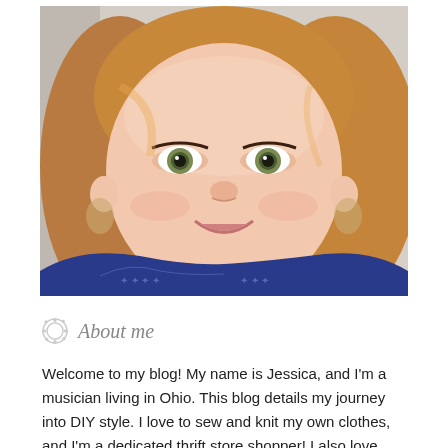[Figure (photo): Close-up portrait of a woman with auburn-blonde wavy hair, green eyes, hoop earrings, and a blue patterned top, smiling at the camera against a light background.]
About me
Welcome to my blog! My name is Jessica, and I'm a musician living in Ohio. This blog details my journey into DIY style. I love to sew and knit my own clothes, and I'm a dedicated thrift store shopper! I also love fashion, so I'm attempting to marry my